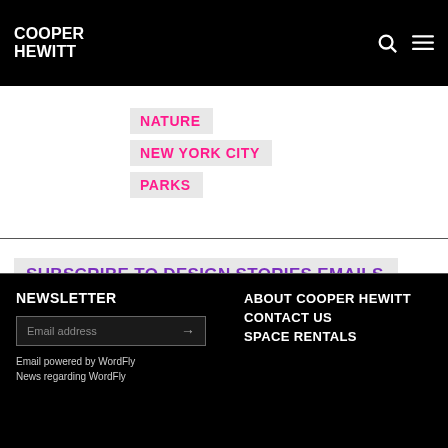COOPER HEWITT
NATURE
NEW YORK CITY
PARKS
SUBSCRIBE TO DESIGN STORIES EMAILS
NEWSLETTER
Email address
Email powered by WordFly
News regarding WordFly
ABOUT COOPER HEWITT
CONTACT US
SPACE RENTALS